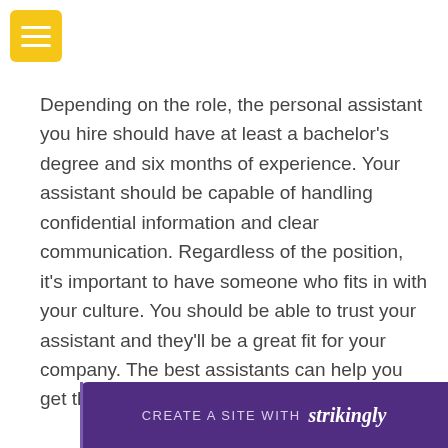[Figure (other): Yellow hamburger menu button icon with three white horizontal lines]
Depending on the role, the personal assistant you hire should have at least a bachelor's degree and six months of experience. Your assistant should be capable of handling confidential information and clear communication. Regardless of the position, it's important to have someone who fits in with your culture. You should be able to trust your assistant and they'll be a great fit for your company. The best assistants can help you get the job done.
[Figure (logo): Purple banner with text 'CREATE A SITE WITH strikingly']